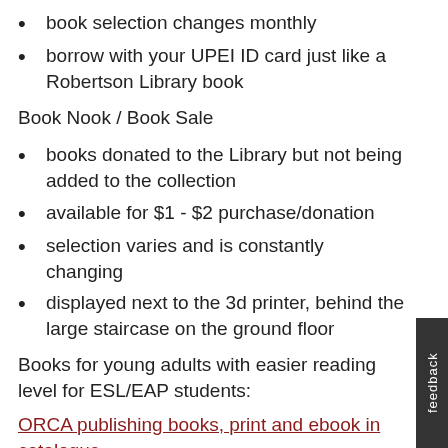book selection changes monthly
borrow with your UPEI ID card just like a Robertson Library book
Book Nook / Book Sale
books donated to the Library but not being added to the collection
available for $1 - $2 purchase/donation
selection varies and is constantly changing
displayed next to the 3d printer, behind the large staircase on the ground floor
Books for young adults with easier reading level for ESL/EAP students:
ORCA publishing books, print and ebook in catalogue
Books with subject "fiction", both print and ebook,